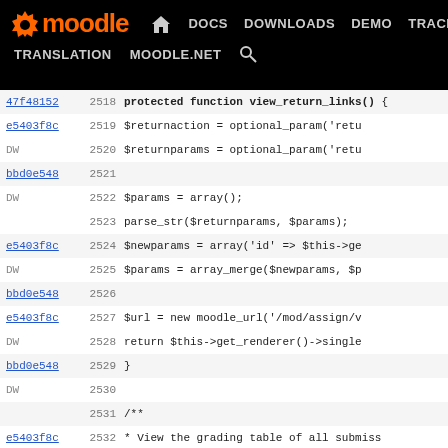[Figure (screenshot): Moodle developer documentation website navigation bar with logo, nav links (DOCS, DOWNLOADS, DEMO, TRACKER, DEV highlighted in blue), TRANSLATION, MOODLE.NET, and search icon]
Source code viewer showing PHP code lines 2518-2544 with git commit hashes and line numbers. Code includes protected function view_return_links(), view_grading_table(), variable assignments, and comments.